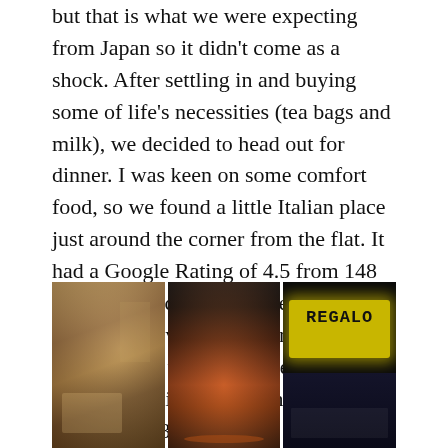but that is what we were expecting from Japan so it didn't come as a shock. After settling in and buying some of life's necessities (tea bags and milk), we decided to head out for dinner. I was keen on some comfort food, so we found a little Italian place just around the corner from the flat. It had a Google Rating of 4.5 from 148 reviews, which is pretty decent for that number of reviews. We arrived at 5:20pm, and there was already a line of people waiting to get in when it opened at 5:30.
[Figure (photo): Three photos side by side: (1) interior of an Italian restaurant with warm lighting and people dining, (2) a pizza on a wooden board with a glass of red wine and white plate, (3) exterior sign of a restaurant reading 'REGALO' in yellow neon letters on a dark building facade.]